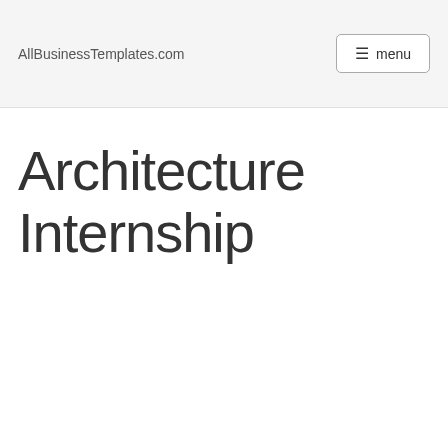AllBusinessTemplates.com    menu
Architecture Internship